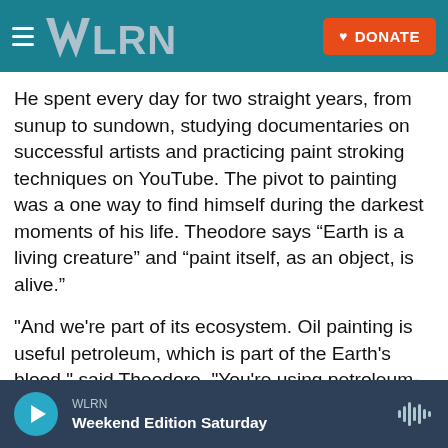WLRN — DONATE
He spent every day for two straight years, from sunup to sundown, studying documentaries on successful artists and practicing paint stroking techniques on YouTube. The pivot to painting was a one way to find himself during the darkest moments of his life. Theodore says “Earth is a living creature” and “paint itself, as an object, is alive.”
"And we're part of its ecosystem. Oil painting is useful petroleum, which is part of the Earth's blood," said Theodore. "You're using petroleum-based or plant-based, and all with pigments, which are rocks, minerals, plants, et cetera."
WLRN — Weekend Edition Saturday